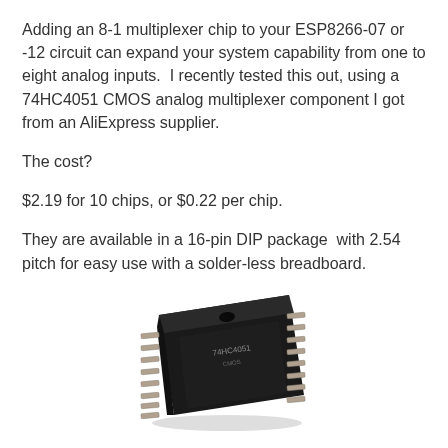Adding an 8-1 multiplexer chip to your ESP8266-07 or -12 circuit can expand your system capability from one to eight analog inputs.  I recently tested this out, using a 74HC4051 CMOS analog multiplexer component I got from an AliExpress supplier.
The cost?
$2.19 for 10 chips, or $0.22 per chip.
They are available in a 16-pin DIP package  with 2.54 pitch for easy use with a solder-less breadboard.
[Figure (photo): Photo of a 16-pin DIP integrated circuit chip (74HC4051 CMOS analog multiplexer) shown at an angle, black rectangular body with metal pins on both sides, on a white background.]